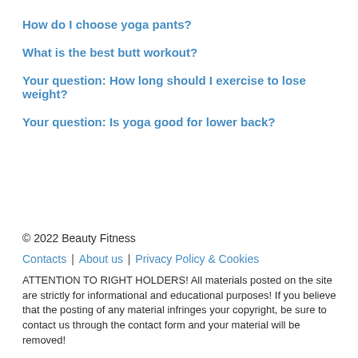How do I choose yoga pants?
What is the best butt workout?
Your question: How long should I exercise to lose weight?
Your question: Is yoga good for lower back?
© 2022 Beauty Fitness
Contacts | About us | Privacy Policy & Cookies
ATTENTION TO RIGHT HOLDERS! All materials posted on the site are strictly for informational and educational purposes! If you believe that the posting of any material infringes your copyright, be sure to contact us through the contact form and your material will be removed!